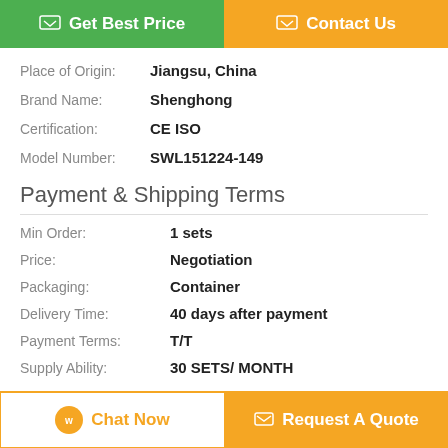[Figure (other): Two action buttons: 'Get Best Price' (green) and 'Contact Us' (orange)]
Place of Origin: Jiangsu, China
Brand Name: Shenghong
Certification: CE ISO
Model Number: SWL151224-149
Payment & Shipping Terms
Min Order: 1 sets
Price: Negotiation
Packaging: Container
Delivery Time: 40 days after payment
Payment Terms: T/T
Supply Ability: 30 SETS/ MONTH
Description
[Figure (other): Bottom bar with 'Chat Now' and 'Request A Quote' buttons]